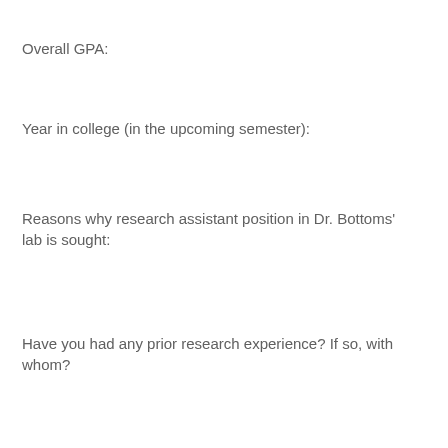Overall GPA:
Year in college (in the upcoming semester):
Reasons why research assistant position in Dr. Bottoms' lab is sought:
Have you had any prior research experience? If so, with whom?